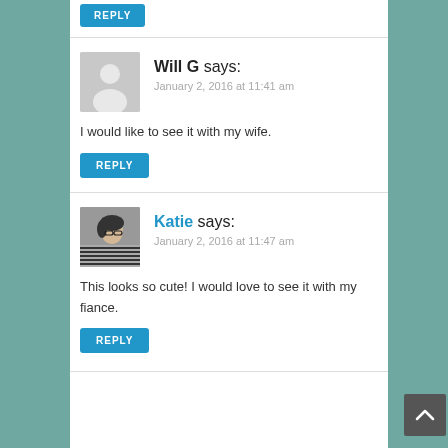[Figure (other): Blue REPLY button at top of page]
Will G says:
January 2, 2016 at 11:41 am
I would like to see it with my wife.
[Figure (other): Blue REPLY button under Will G comment]
Katie says:
January 2, 2016 at 11:47 am
This looks so cute! I would love to see it with my fiance.
[Figure (other): Blue REPLY button under Katie comment]